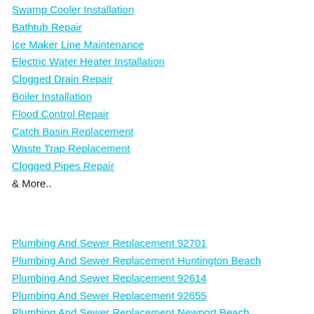Swamp Cooler Installation
Bathtub Repair
Ice Maker Line Maintenance
Electric Water Heater Installation
Clogged Drain Repair
Boiler Installation
Flood Control Repair
Catch Basin Replacement
Waste Trap Replacement
Clogged Pipes Repair
& More..
Plumbing And Sewer Replacement 92701
Plumbing And Sewer Replacement Huntington Beach
Plumbing And Sewer Replacement 92614
Plumbing And Sewer Replacement 92655
Plumbing And Sewer Replacement Newport Beach
Plumbing And Sewer Replacement 92604
Plumbing And Sewer Replacement Irvine Plumbing